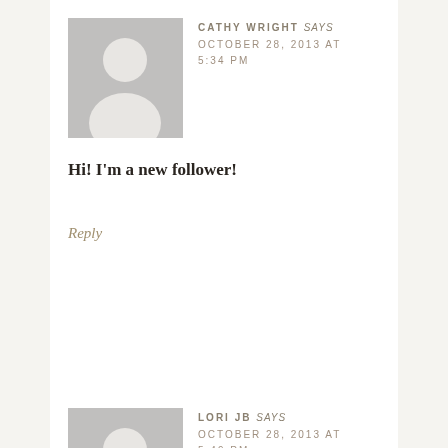[Figure (illustration): Gray placeholder avatar silhouette for user Cathy Wright]
CATHY WRIGHT says
OCTOBER 28, 2013 AT 5:34 PM
Hi! I'm a new follower!
Reply
[Figure (illustration): Gray placeholder avatar silhouette for user Lori JB]
LORI JB says
OCTOBER 28, 2013 AT 5:49 PM